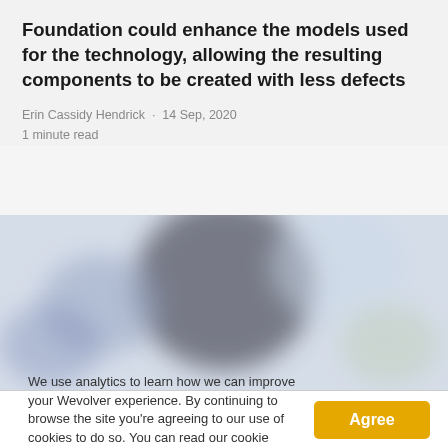Foundation could enhance the models used for the technology, allowing the resulting components to be created with less defects
Erin Cassidy Hendrick · 14 Sep, 2020
1 minute read
[Figure (photo): Blurred/bokeh photograph showing an indistinct scene with soft blues, whites, and dark tones suggesting a person or object in a workshop or lab setting.]
We use analytics to learn how we can improve your Wevolver experience. By continuing to browse the site you're agreeing to our use of cookies to do so. You can read our cookie policy here.